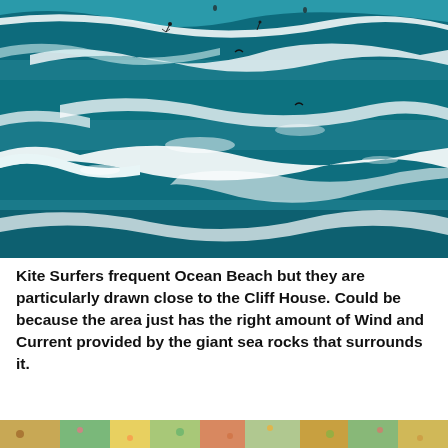[Figure (photo): Aerial or elevated view of ocean waves with white foam breaking on teal-blue water. Tiny silhouettes of kite surfers and birds are visible on the water surface.]
Kite Surfers frequent Ocean Beach but they are particularly drawn close to the Cliff House. Could be because the area just has the right amount of Wind and Current provided by the giant sea rocks that surrounds it.
[Figure (photo): Partial bottom strip of a colorful photo, appears to show a crowd or flowers scene.]